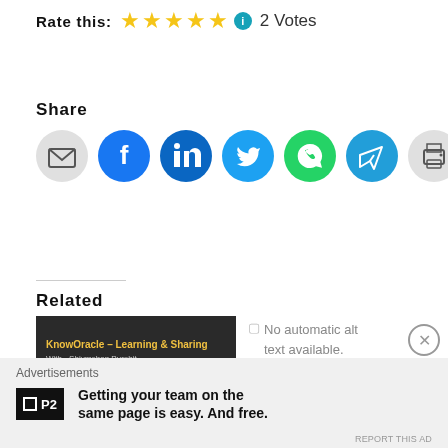Rate this: ★★★★★ ℹ 2 Votes
Share
[Figure (infographic): Row of social share icons: email (grey), Facebook (blue), LinkedIn (dark blue), Twitter (light blue), WhatsApp (green), Telegram (blue), Print (grey)]
Related
[Figure (screenshot): KnowOracle - Learning & Sharing with Shivmohan Purohit dark banner image]
[Figure (illustration): No automatic alt text available.]
Advertisements
[Figure (infographic): P2 advertisement: Getting your team on the same page is easy. And free.]